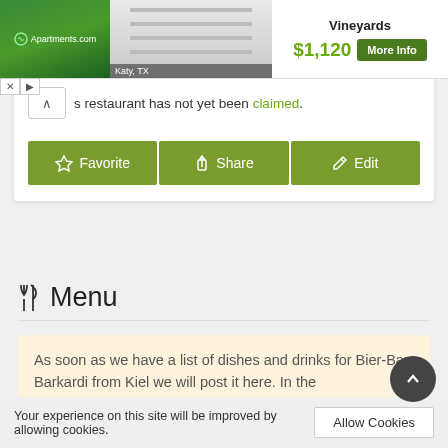[Figure (screenshot): Apartments.com advertisement banner showing a white closet interior photo, Katy TX location tag, Vineyards property name, $1,120 price, and More Info green button]
s restaurant has not yet been claimed.
[Figure (screenshot): Three green action buttons: Favorite (star icon), Share (upload icon), Edit (pencil icon)]
Menu
As soon as we have a list of dishes and drinks for Bier-Bar Barkardi from Kiel we will post it here. In the
Your experience on this site will be improved by allowing cookies.
Allow Cookies